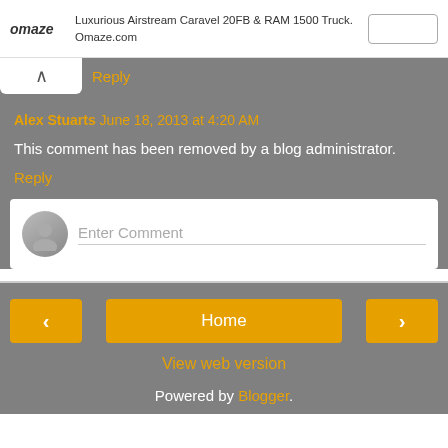[Figure (screenshot): Omaze advertisement banner with logo, text about Luxurious Airstream Caravel 20FB & RAM 1500 Truck at Omaze.com, and a button]
Reply
Alex Stuarts June 18, 2013 at 4:20 AM
This comment has been removed by a blog administrator.
Reply
Enter Comment
Home
View web version
Powered by Blogger.